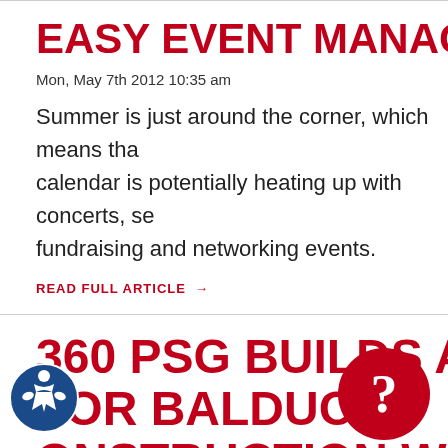EASY EVENT MANAGEME…
Mon, May 7th 2012 10:35 am
Summer is just around the corner, which means tha… calendar is potentially heating up with concerts, se… fundraising and networking events.
READ FULL ARTICLE →
360 PSG BUILDS A NEW S… FOR BALDUCCI… ONSTRUCTION WIT… FISSION CMS…